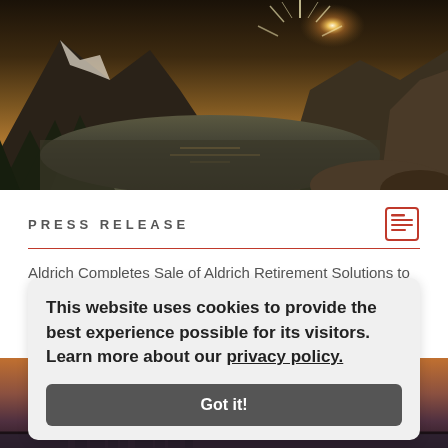[Figure (photo): Aerial landscape photo of a mountain lake at sunset with snow-capped peaks, forested slopes, and golden sunburst light on the horizon]
PRESS RELEASE
Aldrich Completes Sale of Aldrich Retirement Solutions to Prime Pensions, LLC
This website uses cookies to provide the best experience possible for its visitors. Learn more about our privacy policy.
[Figure (photo): Cityscape at dusk with a river and bridge visible, warm sunset sky]